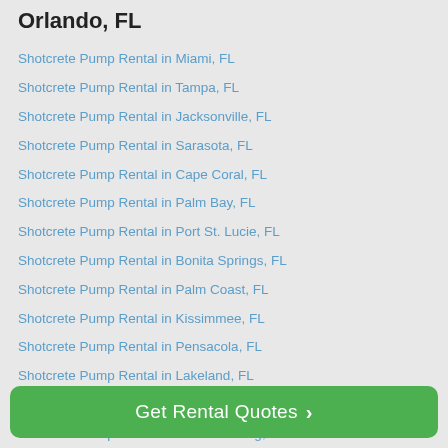Orlando, FL
Shotcrete Pump Rental in Miami, FL
Shotcrete Pump Rental in Tampa, FL
Shotcrete Pump Rental in Jacksonville, FL
Shotcrete Pump Rental in Sarasota, FL
Shotcrete Pump Rental in Cape Coral, FL
Shotcrete Pump Rental in Palm Bay, FL
Shotcrete Pump Rental in Port St. Lucie, FL
Shotcrete Pump Rental in Bonita Springs, FL
Shotcrete Pump Rental in Palm Coast, FL
Shotcrete Pump Rental in Kissimmee, FL
Shotcrete Pump Rental in Pensacola, FL
Shotcrete Pump Rental in Lakeland, FL
Shotcrete Pump Rental in Winter Haven, FL
Shotcrete Pump Rental in St. Petersburg, FL
Shotcrete Pump Rental in Tallahassee, FL
Shotcrete Pump Rental in Hialeah, FL
Shotcrete Pump Rental in North Port, FL
Get Rental Quotes ›